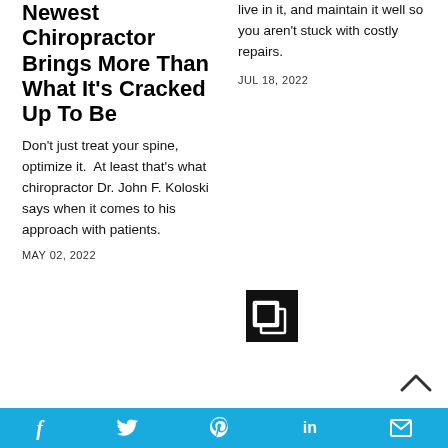Newest Chiropractor Brings More Than What It’s Cracked Up To Be
Don’t just treat your spine, optimize it.  At least that’s what chiropractor Dr. John F. Koloski says when it comes to his approach with patients.
MAY 02, 2022
live in it, and maintain it well so you aren’t stuck with costly repairs.
JUL 18, 2022
[Figure (logo): Small square icon with overlapping rectangles on black background]
[Figure (other): Social sharing bar with Facebook, Twitter, Pinterest, LinkedIn, and email icons on blue background]